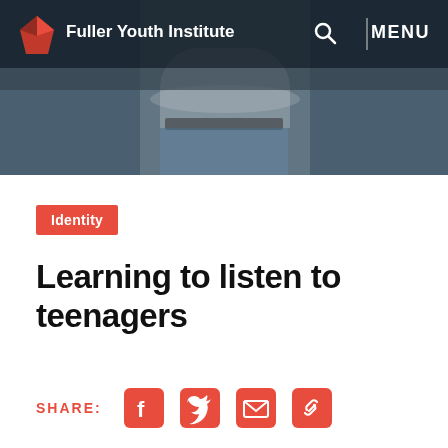[Figure (screenshot): Fuller Youth Institute website header showing navigation bar with logo (red diamond shape), 'Fuller Youth Institute' text, search icon, and MENU button over a dark overlay. Background shows a photo of a person in a polka-dot top and jeans.]
Fuller Youth Institute | MENU
Identity
Learning to listen to teenagers
SHARE: